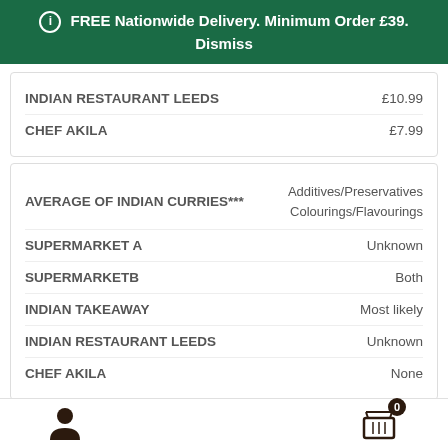FREE Nationwide Delivery. Minimum Order £39. Dismiss
|  |  |
| --- | --- |
| INDIAN RESTAURANT LEEDS | £10.99 |
| CHEF AKILA | £7.99 |
|  |  |
| --- | --- |
| AVERAGE OF INDIAN CURRIES*** | Additives/Preservatives Colourings/Flavourings |
| SUPERMARKET A | Unknown |
| SUPERMARKET B | Both |
| INDIAN TAKEAWAY | Most likely |
| INDIAN RESTAURANT LEEDS | Unknown |
| CHEF AKILA | None |
|  |  |
| --- | --- |
| AVERAGE OF INDIAN CURRIES*** | How it's made |
User icon | Cart icon with badge 0